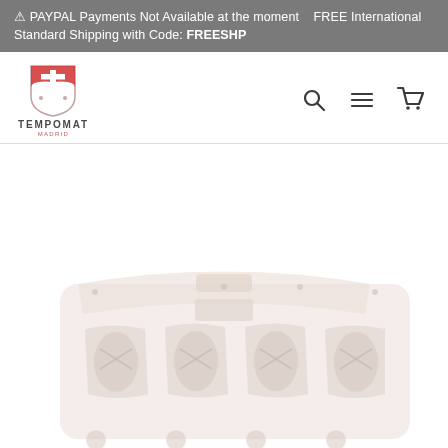⚠ PAYPAL Payments Not Available at the moment    FREE International Standard Shipping with Code: FREESHP
[Figure (logo): Tempomat Madrid logo — shield with cross and T motif in red, with brand name TEMPOMAT and subtitle MADRID below]
[Figure (screenshot): Navigation bar icons: search (magnifying glass), menu (three horizontal lines), cart (shopping cart outline)]
[Figure (photo): Faded/light product photo of a watch roll or watch case organizer, showing multiple watch cushion slots, photographed from a slightly elevated angle. The image is very light/washed out against a white background.]